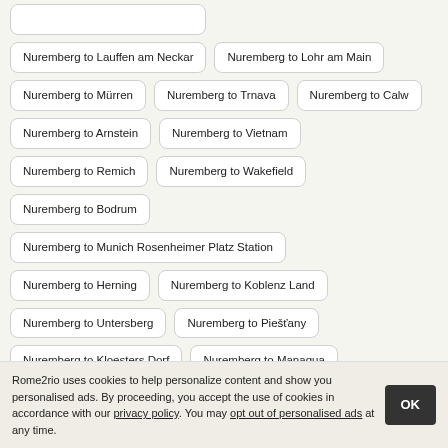Nuremberg to Lauffen am Neckar
Nuremberg to Lohr am Main
Nuremberg to Mürren
Nuremberg to Trnava
Nuremberg to Calw
Nuremberg to Arnstein
Nuremberg to Vietnam
Nuremberg to Remich
Nuremberg to Wakefield
Nuremberg to Bodrum
Nuremberg to Munich Rosenheimer Platz Station
Nuremberg to Herning
Nuremberg to Koblenz Land
Nuremberg to Untersberg
Nuremberg to Piešťany
Nuremberg to Kloesters Dorf
Nuremberg to Managua
Rome2rio uses cookies to help personalize content and show you personalised ads. By proceeding, you accept the use of cookies in accordance with our privacy policy. You may opt out of personalised ads at any time.